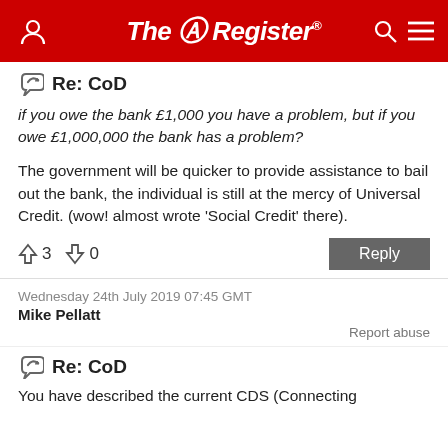The Register
Re: CoD
if you owe the bank £1,000 you have a problem, but if you owe £1,000,000 the bank has a problem?
The government will be quicker to provide assistance to bail out the bank, the individual is still at the mercy of Universal Credit. (wow! almost wrote 'Social Credit' there).
↑3  ↓0   Reply
Wednesday 24th July 2019 07:45 GMT
Mike Pellatt
Report abuse
Re: CoD
You have described the current CDS (Connecting